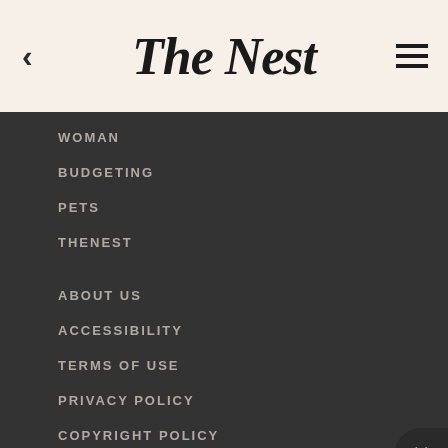The Nest
WOMAN
BUDGETING
PETS
THENEST
ABOUT US
ACCESSIBILITY
TERMS OF USE
PRIVACY POLICY
COPYRIGHT POLICY
CONTACT US
CAREERS
MANAGE PREFERENCES